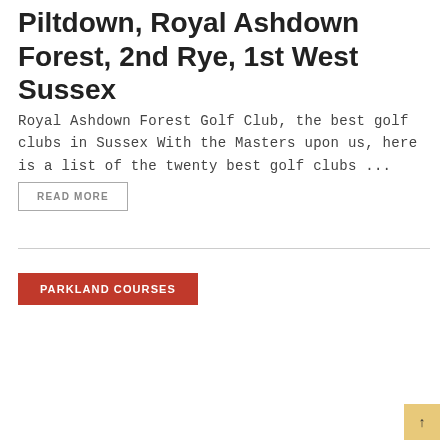Piltdown, Royal Ashdown Forest, 2nd Rye, 1st West Sussex
Royal Ashdown Forest Golf Club, the best golf clubs in Sussex With the Masters upon us, here is a list of the twenty best golf clubs ...
READ MORE
PARKLAND COURSES